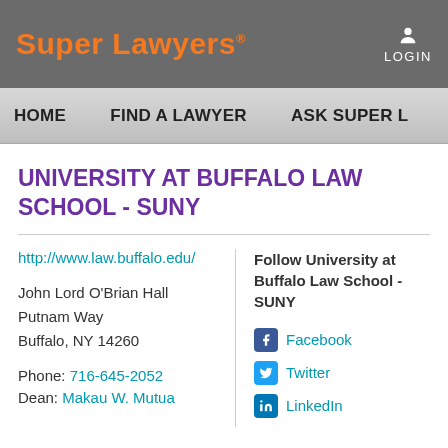Super Lawyers® LOGIN
HOME   FIND A LAWYER   ASK SUPER L...
UNIVERSITY AT BUFFALO LAW SCHOOL - SUNY
http://www.law.buffalo.edu/
John Lord O'Brian Hall
Putnam Way
Buffalo, NY 14260
Phone: 716-645-2052
Dean: Makau W. Mutua
Follow University at Buffalo Law School - SUNY
Facebook
Twitter
LinkedIn